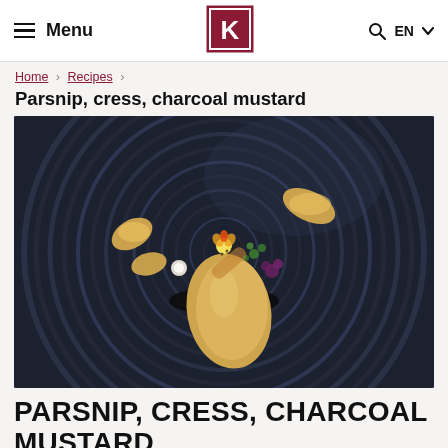Menu | K logo | Q EN
Home › Recipes ›
Parsnip, cress, charcoal mustard
[Figure (photo): Fine dining dish: roasted parsnip and mustard puree arranged artistically on a dark swirled plate with cress, flowers, and black charcoal elements.]
PARSNIP, CRESS, CHARCOAL MUSTARD